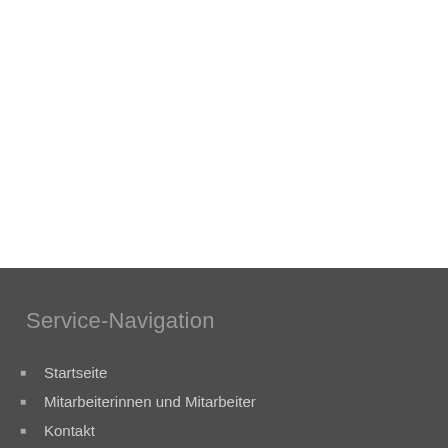Service-Navigation
Startseite
Mitarbeiterinnen und Mitarbeiter
Kontakt